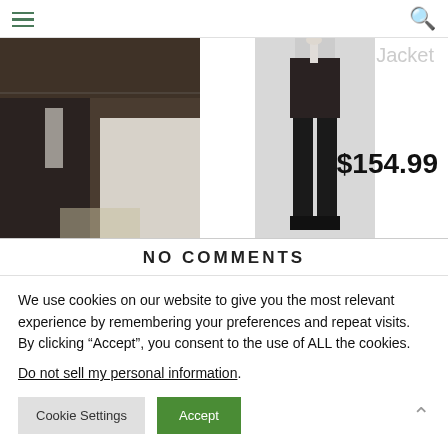[hamburger menu] Jacket [search icon]
[Figure (photo): Wedding photo on the left showing a groom in dark suit and bride in white dress. On the right, a product thumbnail of dark suit trousers on a model against grey background.]
Jacket
$154.99
NO COMMENTS
We use cookies on our website to give you the most relevant experience by remembering your preferences and repeat visits. By clicking “Accept”, you consent to the use of ALL the cookies.
Do not sell my personal information.